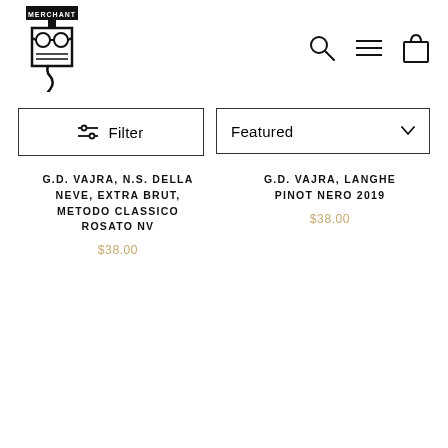[Figure (logo): Wine shop logo: corkscrew figure with glasses and a rectangular label on its body, with 'MERCHANT' text above]
[Figure (screenshot): Navigation icons: search (magnifying glass), hamburger menu, shopping bag]
Filter
Featured
G.D. VAJRA, N.S. DELLA NEVE, EXTRA BRUT, METODO CLASSICO ROSATO NV
$38.00
G.D. VAJRA, LANGHE PINOT NERO 2019
$38.00